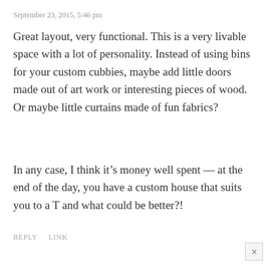September 23, 2015, 5:46 pm
Great layout, very functional. This is a very livable space with a lot of personality. Instead of using bins for your custom cubbies, maybe add little doors made out of art work or interesting pieces of wood. Or maybe little curtains made of fun fabrics?
In any case, I think it’s money well spent — at the end of the day, you have a custom house that suits you to a T and what could be better?!
REPLY    LINK